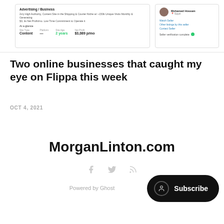[Figure (screenshot): Screenshot of a Flippa listing card. Left panel: 'Advertising / Business' title, description about high authority content site in shipping & courier niche with 150k unique visits monthly generating $3,089 profit/month. 'At a glance' section showing Site Type: Content, Platform: —, Site Age: 2 years, Net Profit: $3,089 p/mo. Right panel: Seller profile for Mohamed Hossam from Egypt, with Watch Seller, Other listings by this seller, Contact Seller links, and Seller verification complete badge.]
Two online businesses that caught my eye on Flippa this week
OCT 4, 2021
MorganLinton.com
Powered by Ghost